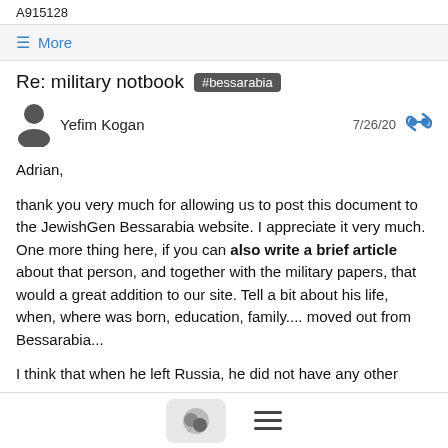A915128
≡ More
Re: military notbook #bessarabia
Yefim Kogan   7/26/20
Adrian,

thank you very much for allowing us to post this document to the JewishGen Bessarabia website.  I appreciate it very much.  One more thing here, if you can also write a brief article about that person, and together with the military papers, that would a great addition to our site.  Tell a bit about his life, when, where was born, education, family.... moved out from Bessarabia...

I think that when he left Russia, he did not have any other